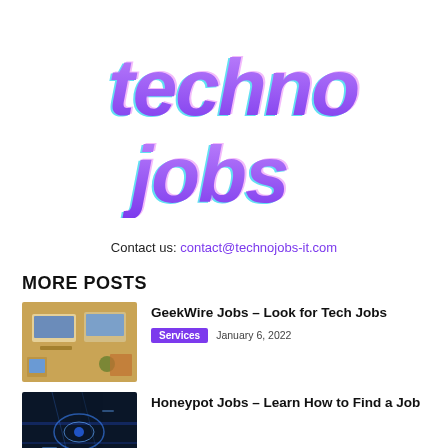[Figure (logo): TechnoJobs logo in bold italic purple/violet text with cyan shadow offset, two lines: 'techno' and 'jobs']
Contact us: contact@technojobs-it.com
MORE POSTS
[Figure (photo): Overhead view of people working on laptops and tablets on a wooden desk]
GeekWire Jobs – Look for Tech Jobs
Services  January 6, 2022
[Figure (photo): Cyberpunk/tech themed dark blue image]
Honeypot Jobs – Learn How to Find a Job